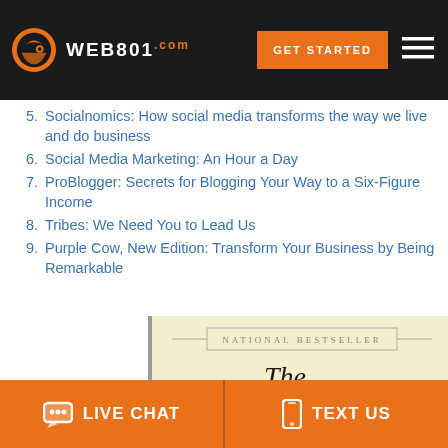WEB801.com — GET STARTED
5. Socialnomics: How social media transforms the way we live and do business
6. Social Media Marketing: An Hour a Day
7. ProBlogger: Secrets for Blogging Your Way to a Six-Figure Income
8. Tribes: We Need You to Lead Us
9. Purple Cow, New Edition: Transform Your Business by Being Remarkable
[Figure (photo): Book cover of 'The Tipping Point' showing the title in serif font on a light cream background with a stamp reading 'NATIONAL BESTSELLER']
LIVE CHAT   TEXT US